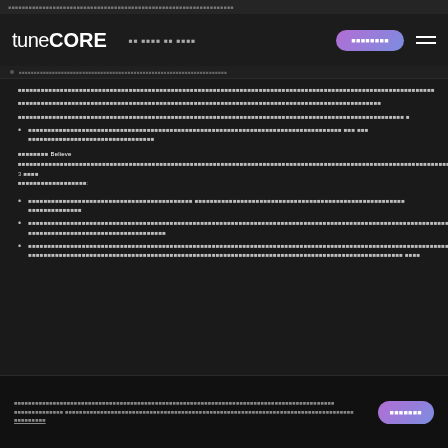TuneCORE navigation bar with logo, nav links, sign up button, and hamburger menu
Redacted text block paragraph 1 - body content about music distribution
Redacted text block paragraph 2 - continued body content
Redacted text block paragraph 3 - continued body content
Redacted bullet point item about music content and related topics
Redacted section text mentioning Believe and 3 related items:
Redacted bullet point 1 about distribution options
Redacted bullet point 2 about terms and conditions
Redacted bullet point 3 about additional information
Footer with redacted text and sign up button